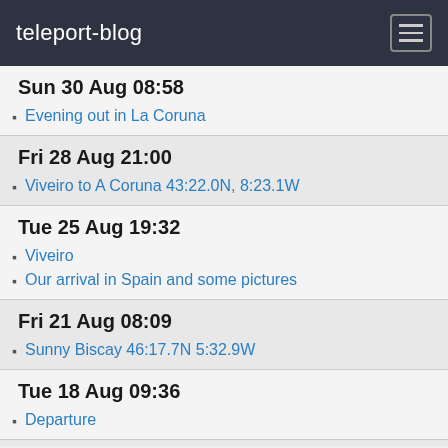teleport-blog
Sun 30 Aug 08:58
Evening out in La Coruna
Fri 28 Aug 21:00
Viveiro to A Coruna 43:22.0N, 8:23.1W
Tue 25 Aug 19:32
Viveiro
Our arrival in Spain and some pictures
Fri 21 Aug 08:09
Sunny Biscay 46:17.7N 5:32.9W
Tue 18 Aug 09:36
Departure
Fri 14 Aug 10:09
50:9.24N,5:03.73W
Tue 11 Aug 20:25
To Plymouth for stores and a new wind generator
Fri 7 Aug 13:01